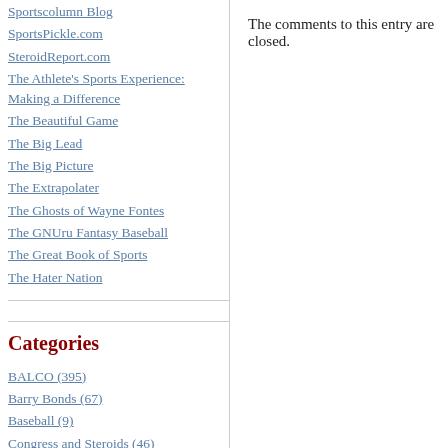Sportscolumn Blog
SportsPickle.com
SteroidReport.com
The Athlete's Sports Experience: Making a Difference
The Beautiful Game
The Big Lead
The Big Picture
The Extrapolater
The Ghosts of Wayne Fontes
The GNUru Fantasy Baseball
The Great Book of Sports
The Hater Nation
Categories
BALCO (395)
Barry Bonds (67)
Baseball (9)
Congress and Steroids (46)
Cycling (256)
Doping (1614)
Drugs and Alcohol (89)
EPO (156)
Gene doping (13)
The comments to this entry are closed.